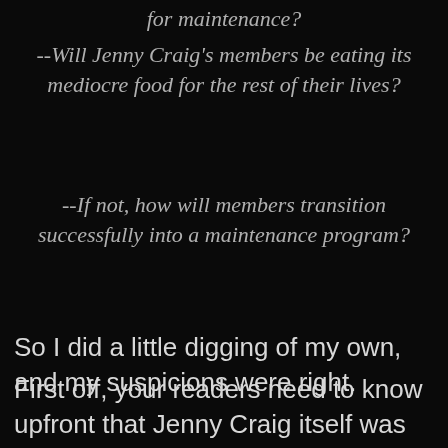for maintenance?
--Will Jenny Craig's members be eating its mediocre food for the rest of their lives?
--If not, how will members transition successfully into a maintenance program?
So I did a little digging of my own, and my suspicions were right.
First off, your readers need to know upfront that Jenny Craig itself was